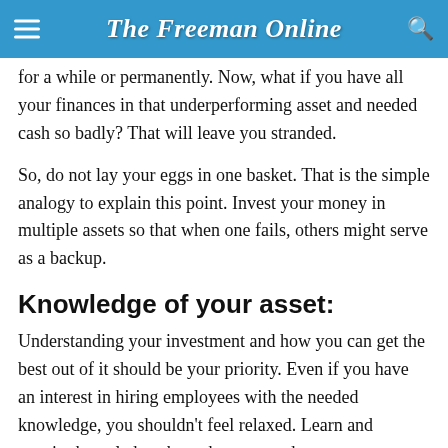The Freeman Online
for a while or permanently. Now, what if you have all your finances in that underperforming asset and needed cash so badly? That will leave you stranded.
So, do not lay your eggs in one basket. That is the simple analogy to explain this point. Invest your money in multiple assets so that when one fails, others might serve as a backup.
Knowledge of your asset:
Understanding your investment and how you can get the best out of it should be your priority. Even if you have an interest in hiring employees with the needed knowledge, you shouldn't feel relaxed. Learn and acquire knowledge about the asset and